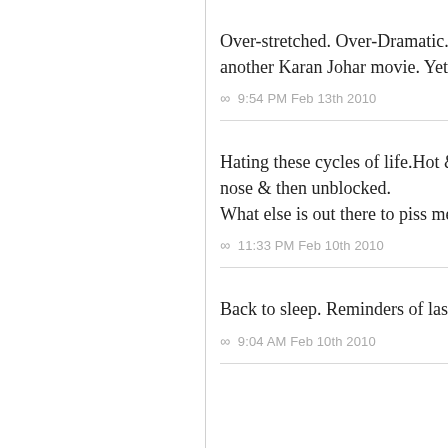Over-stretched. Over-Dramatic. Lack o… another Karan Johar movie. Yet I went.
∞  9:54 PM Feb 13th 2010
Hating these cycles of life.Hot & cold; nose & then unblocked.
What else is out there to piss me off no…
∞  11:33 PM Feb 10th 2010
Back to sleep. Reminders of last night e…
∞  9:04 AM Feb 10th 2010